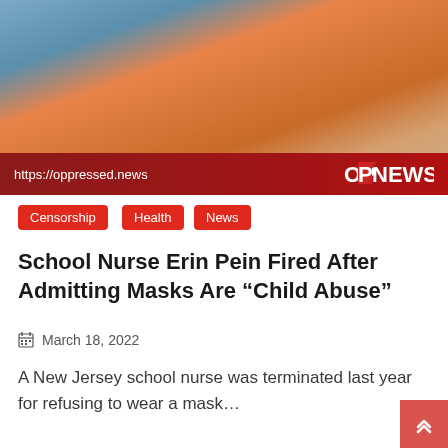[Figure (photo): Two people seated on a couch, one wearing an orange cable-knit sweater, the other in a beige top. A news broadcast overlay shows the URL https://oppressed.news and the OPNEWS logo on a dark red banner.]
Censorship
Health
News
School Nurse Erin Pein Fired After Admitting Masks Are “Child Abuse”
March 18, 2022
A New Jersey school nurse was terminated last year for refusing to wear a mask…